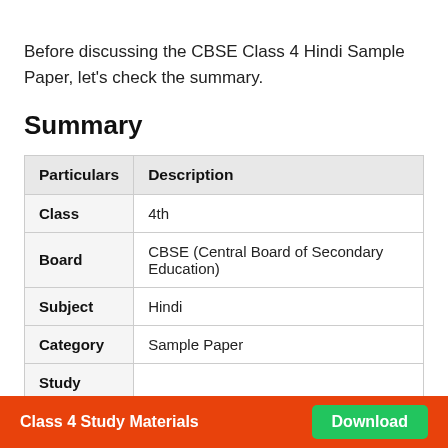Before discussing the CBSE Class 4 Hindi Sample Paper, let's check the summary.
Summary
| Particulars | Description |
| --- | --- |
| Class | 4th |
| Board | CBSE (Central Board of Secondary Education) |
| Subject | Hindi |
| Category | Sample Paper |
| Study |  |
Class 4 Study Materials  Download